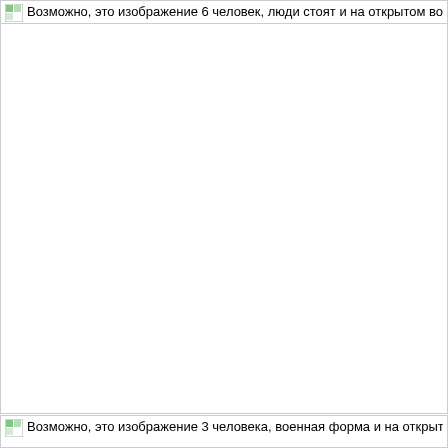[Figure (photo): Broken image placeholder with alt text in Russian: Возможно, это изображение 6 человек, люди стоят и на открытом воздухе]
[Figure (photo): Broken image placeholder with alt text in Russian: Возможно, это изображение 3 человека, военная форма и на открытом воз...]